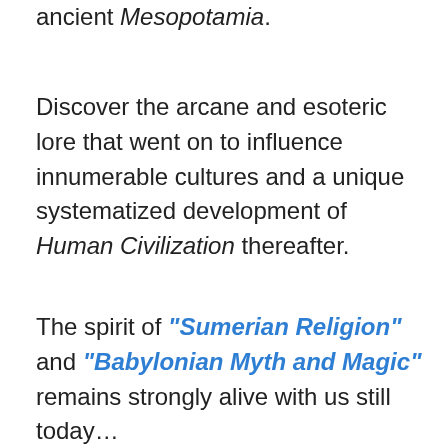ancient Mesopotamia.
Discover the arcane and esoteric lore that went on to influence innumerable cultures and a unique systematized development of Human Civilization thereafter.
The spirit of "Sumerian Religion" and "Babylonian Myth and Magic" remains strongly alive with us still today…